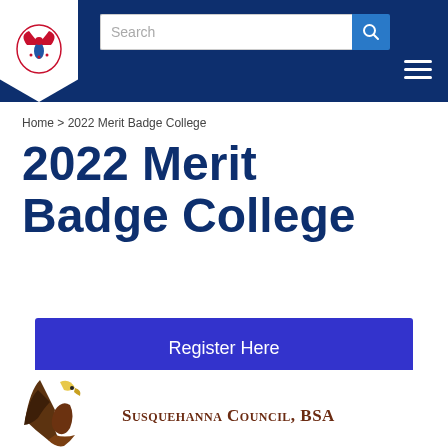Search | Navigation menu — Susquehanna Council BSA website header
Home > 2022 Merit Badge College
2022 Merit Badge College
Register Here
Susquehanna Council, BSA